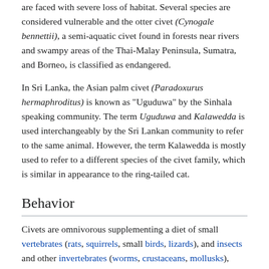are faced with severe loss of habitat. Several species are considered vulnerable and the otter civet (Cynogale bennettii), a semi-aquatic civet found in forests near rivers and swampy areas of the Thai-Malay Peninsula, Sumatra, and Borneo, is classified as endangered.
In Sri Lanka, the Asian palm civet (Paradoxurus hermaphroditus) is known as "Uguduwa" by the Sinhala speaking community. The term Uguduwa and Kalawedda is used interchangeably by the Sri Lankan community to refer to the same animal. However, the term Kalawedda is mostly used to refer to a different species of the civet family, which is similar in appearance to the ring-tailed cat.
Behavior
Civets are omnivorous supplementing a diet of small vertebrates (rats, squirrels, small birds, lizards), and insects and other invertebrates (worms, crustaceans, mollusks), both hunted and scavenged, with fruit, eggs